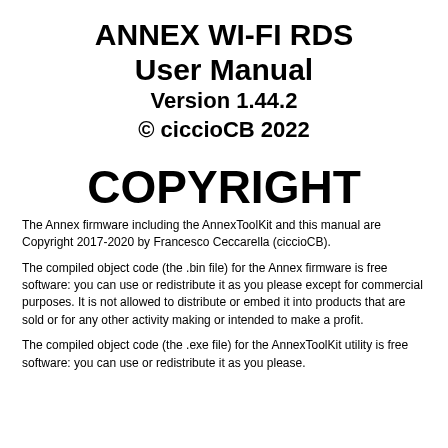ANNEX WI-FI RDS User Manual Version 1.44.2 © ciccioCB 2022
COPYRIGHT
The Annex firmware including the AnnexToolKit and this manual are Copyright 2017-2020 by Francesco Ceccarella (ciccioCB).
The compiled object code (the .bin file) for the Annex firmware is free software: you can use or redistribute it as you please except for commercial purposes. It is not allowed to distribute or embed it into products that are sold or for any other activity making or intended to make a profit.
The compiled object code (the .exe file) for the AnnexToolKit utility is free software: you can use or redistribute it as you please.